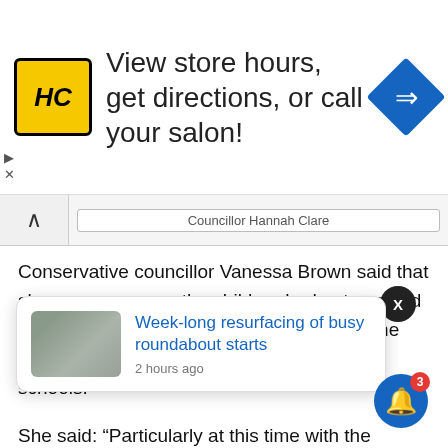[Figure (screenshot): Advertisement banner for HC (salon/store locator): yellow HC logo on left, text 'View store hours, get directions, or call your salon!' in center, blue navigation diamond arrow icon on right. Small play and X controls on the left side below the ad.]
Councillor Hannah Clare
Conservative councillor Vanessa Brown said that she was very sorry the children had not secured places but there was no room for them as the council had already agreed jointly with the schools.
She said: “Particularly at this time with the pandemic, it would be wrong to try to crowd any more children into two already overcrowded schools.
nal areas, tempts at
[Figure (screenshot): Popup notification card showing a thumbnail photo of a road/roundabout and a link titled 'Week-long resurfacing of busy roundabout starts' with timestamp '2 hours ago'. There is a black X close button above the card.]
Councillor Brown said that increasing numbers at the